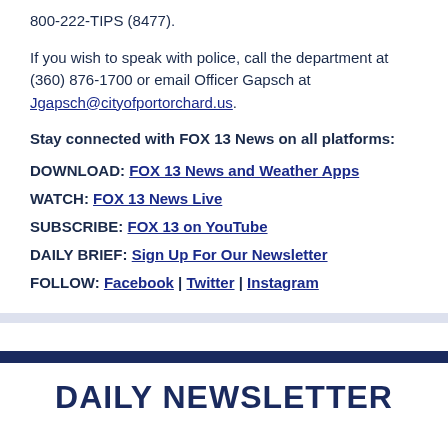800-222-TIPS (8477).
If you wish to speak with police, call the department at (360) 876-1700 or email Officer Gapsch at Jgapsch@cityofportorchard.us.
Stay connected with FOX 13 News on all platforms:
DOWNLOAD: FOX 13 News and Weather Apps
WATCH: FOX 13 News Live
SUBSCRIBE: FOX 13 on YouTube
DAILY BRIEF: Sign Up For Our Newsletter
FOLLOW: Facebook | Twitter | Instagram
DAILY NEWSLETTER